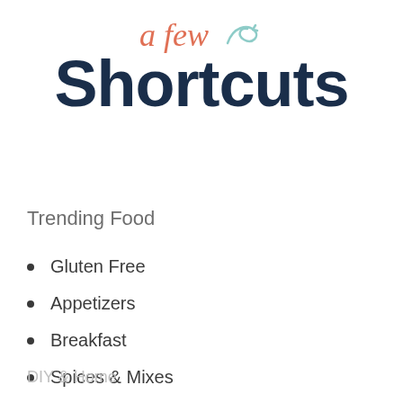a few Shortcuts
Trending Food
Gluten Free
Appetizers
Breakfast
Spices & Mixes
DIY & Home